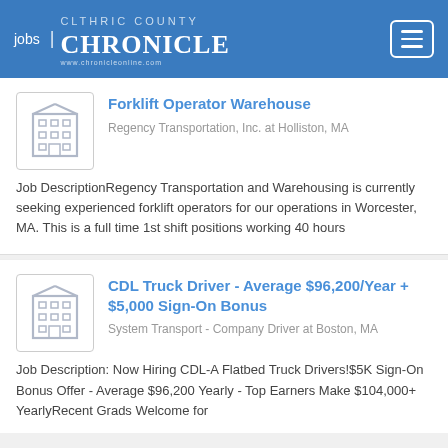jobs | CHRONICLE
Forklift Operator Warehouse
Regency Transportation, Inc. at Holliston, MA
Job DescriptionRegency Transportation and Warehousing is currently seeking experienced forklift operators for our operations in Worcester, MA. This is a full time 1st shift positions working 40 hours
CDL Truck Driver - Average $96,200/Year + $5,000 Sign-On Bonus
System Transport - Company Driver at Boston, MA
Job Description: Now Hiring CDL-A Flatbed Truck Drivers!$5K Sign-On Bonus Offer - Average $96,200 Yearly - Top Earners Make $104,000+ YearlyRecent Grads Welcome for